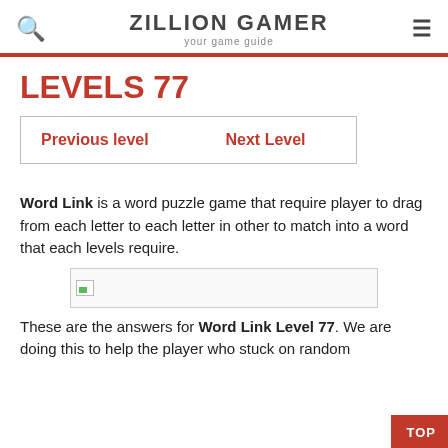ZILLION GAMER your game guide
LEVELS 77
| Previous level | Next Level |
Word Link is a word puzzle game that require player to drag from each letter to each letter in other to match into a word that each levels require.
[Figure (photo): Image placeholder with broken image icon]
These are the answers for Word Link Level 77. We are doing this to help the player who stuck on random